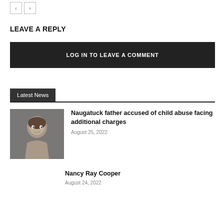< >
LEAVE A REPLY
LOG IN TO LEAVE A COMMENT
Latest News
[Figure (photo): Mugshot photo of a man with curly hair]
Naugatuck father accused of child abuse facing additional charges
August 25, 2022
Nancy Ray Cooper
August 24, 2022